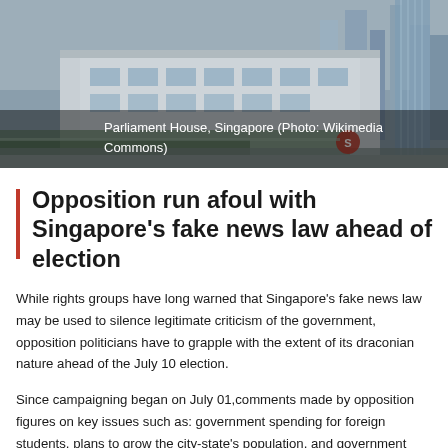[Figure (photo): Photo of Parliament House, Singapore — a modern government building with white facade and glass tower in background, overcast sky]
Parliament House, Singapore (Photo: Wikimedia Commons)
Opposition run afoul with Singapore's fake news law ahead of election
While rights groups have long warned that Singapore's fake news law may be used to silence legitimate criticism of the government, opposition politicians have to grapple with the extent of its draconian nature ahead of the July 10 election.
Since campaigning began on July 01,comments made by opposition figures on key issues such as: government spending for foreign students, plans to grow the city-state's population, and government advisories that discouraged COVID-19 testing for foreign workers, must carry a warning that the statement contains false information.